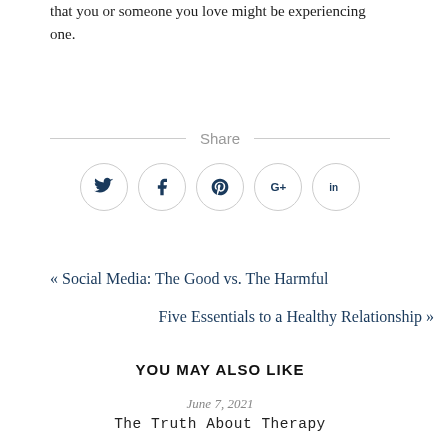that you or someone you love might be experiencing one.
Share
[Figure (other): Social share icons: Twitter, Facebook, Pinterest, Google+, LinkedIn — each in a circle]
« Social Media: The Good vs. The Harmful
Five Essentials to a Healthy Relationship »
YOU MAY ALSO LIKE
June 7, 2021
The Truth About Therapy